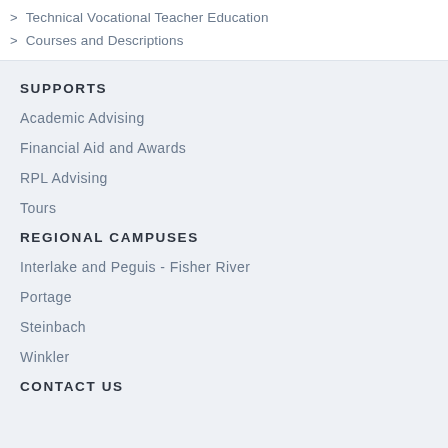> Technical Vocational Teacher Education
> Courses and Descriptions
SUPPORTS
Academic Advising
Financial Aid and Awards
RPL Advising
Tours
REGIONAL CAMPUSES
Interlake and Peguis - Fisher River
Portage
Steinbach
Winkler
CONTACT US